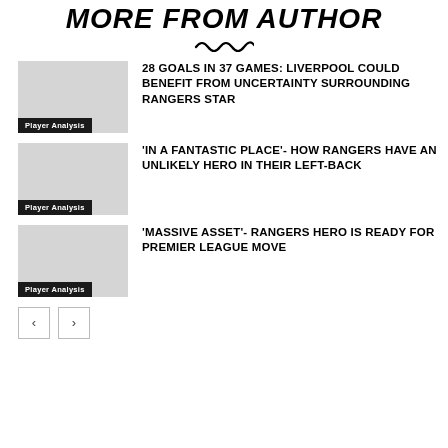MORE FROM AUTHOR
28 GOALS IN 37 GAMES: LIVERPOOL COULD BENEFIT FROM UNCERTAINTY SURROUNDING RANGERS STAR
'IN A FANTASTIC PLACE'- HOW RANGERS HAVE AN UNLIKELY HERO IN THEIR LEFT-BACK
'MASSIVE ASSET'- RANGERS HERO IS READY FOR PREMIER LEAGUE MOVE